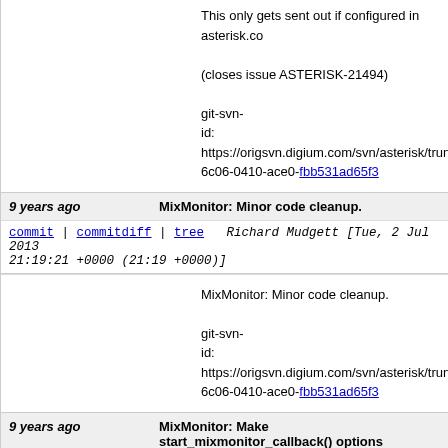This only gets sent out if configured in asterisk.co
(closes issue ASTERISK-21494)

git-svn-id: https://origsvn.digium.com/svn/asterisk/trunk@6c06-0410-ace0-fbb531ad65f3
9 years ago   MixMonitor: Minor code cleanup.
commit | commitdiff | tree   Richard Mudgett [Tue, 2 Jul 2013 21:19:21 +0000 (21:19 +0000)]
MixMonitor: Minor code cleanup.

git-svn-id: https://origsvn.digium.com/svn/asterisk/trunk@6c06-0410-ace0-fbb531ad65f3
9 years ago   MixMonitor: Make start_mixmonitor_callback() options parameter NULL tolerant.
commit | commitdiff | tree   Richard Mudgett [Tue, 2 Jul 2013 21:16:25 +0000 (21:16 +0000)]
MixMonitor: Make start_mixmonitor_callback() opt

* Removed some unnecessary code in start_mixm